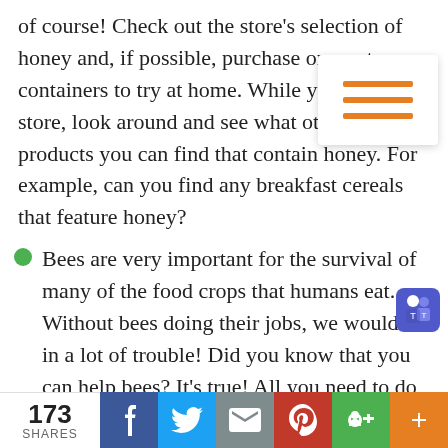of course! Check out the store's selection of honey and, if possible, purchase one or two containers to try at home. While you're at the store, look around and see what other types of products you can find that contain honey. For example, can you find any breakfast cereals that feature honey?
Bees are very important for the survival of many of the food crops that humans eat. Without bees doing their jobs, we would be in a lot of trouble! Did you know that you can help bees? It's true! All you need to do is to plant some bee-friendly plants near your home. If you're not sure what to plant, just jump online to check out these Ecoregional Planting Guid
173 SHARES | Facebook | Twitter | Email | Pinterest | Google+ | +